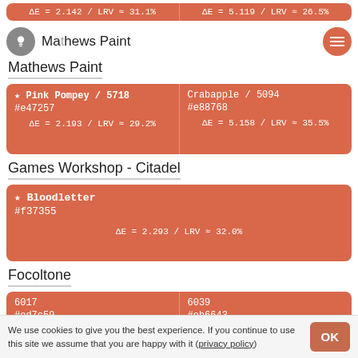ΔE = 2.142 / LRV ≈ 31.1%
ΔE = 5.119 / LRV ≈ 26.5%
Mathews Paint
★ Pink Pompey / 5718
#e47257
ΔE = 2.193 / LRV ≈ 29.2%
Crabapple / 5094
#e88768
ΔE = 5.158 / LRV ≈ 35.5%
Games Workshop - Citadel
★ Bloodletter
#f37355
ΔE = 2.293 / LRV ≈ 32.0%
Focoltone
6017
#ed7c59
ΔE = 2.373 / LRV ≈ 33.1%
6039
#eb6643
ΔE = 3.414 / LRV ≈ 27.6%
Albany Paint
We use cookies to give you the best experience. If you continue to use this site we assume that you are happy with it (privacy policy)